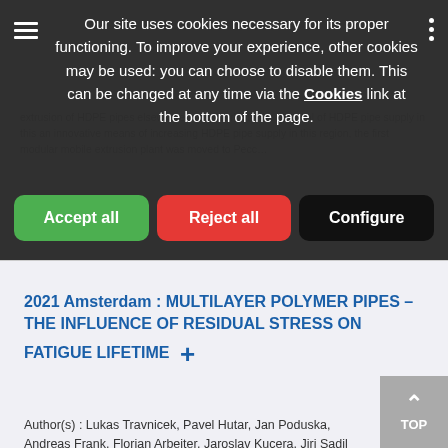Our site uses cookies necessary for its proper functioning. To improve your experience, other cookies may be used: you can choose to disable them. This can be changed at any time via the Cookies link at the bottom of the page.
Accept all
Reject all
Configure
2021 Amsterdam : MULTILAYER POLYMER PIPES – THE INFLUENCE OF RESIDUAL STRESS ON FATIGUE LIFETIME +
Author(s) : Lukas Travnicek, Pavel Hutar, Jan Poduska, Andreas Frank, Florian Arbeiter, Jaroslav Kucera, Jiri Sadil Gerald Pinter, Lubos Nahlik